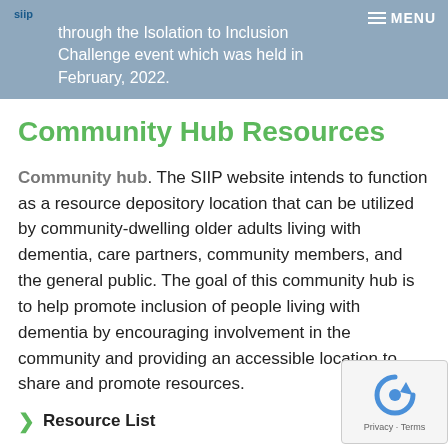through the Isolation to Inclusion Challenge event which was held in February, 2022.
Community Hub Resources
Community hub. The SIIP website intends to function as a resource depository location that can be utilized by community-dwelling older adults living with dementia, care partners, community members, and the general public. The goal of this community hub is to help promote inclusion of people living with dementia by encouraging involvement in the community and providing an accessible location to share and promote resources.
Resource List